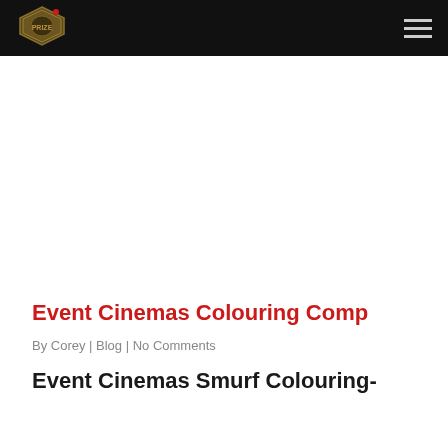[Figure (logo): Website logo — decorative diamond/badge shape with olive/brown coloring and a red dot]
Event Cinemas Colouring Comp
By Corey | Blog | No Comments
Event Cinemas Smurf Colouring-